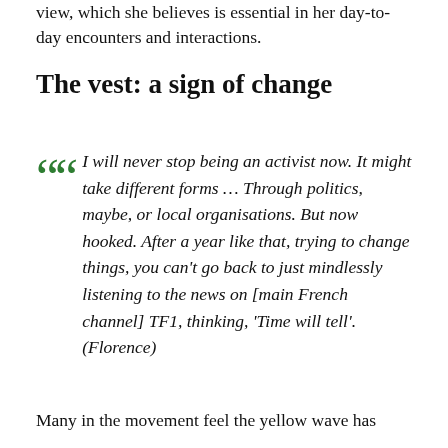view, which she believes is essential in her day-to-day encounters and interactions.
The vest: a sign of change
I will never stop being an activist now. It might take different forms … Through politics, maybe, or local organisations. But now hooked. After a year like that, trying to change things, you can't go back to just mindlessly listening to the news on [main French channel] TF1, thinking, 'Time will tell'. (Florence)
Many in the movement feel the yellow wave has